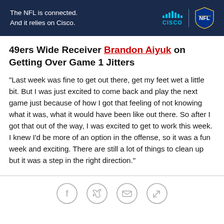[Figure (other): NFL and Cisco advertisement banner with dark navy background. Text reads 'The NFL is connected. And it relies on Cisco.' with Cisco bars logo and NFL shield logo on the right.]
49ers Wide Receiver Brandon Aiyuk on Getting Over Game 1 Jitters
"Last week was fine to get out there, get my feet wet a little bit. But I was just excited to come back and play the next game just because of how I got that feeling of not knowing what it was, what it would have been like out there. So after I got that out of the way, I was excited to get to work this week. I knew I'd be more of an option in the offense, so it was a fun week and exciting. There are still a lot of things to clean up but it was a step in the right direction."
[Figure (other): Social sharing icons row: Facebook, Twitter, Email, and Link icons in circular outlines]